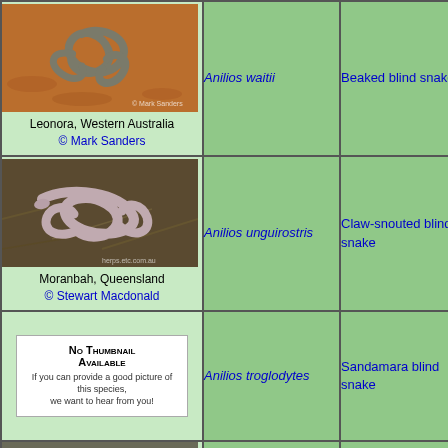[Figure (photo): Coiled blind snake on red sandy ground, Leonora, Western Australia, © Mark Sanders]
Leonora, Western Australia
© Mark Sanders
Anilios waitii
Beaked blind snake
Anil
[Figure (photo): Coiled pinkish-grey blind snake on leaf litter, Moranbah, Queensland, © Stewart Macdonald]
Moranbah, Queensland
© Stewart Macdonald
Anilios unguirostris
Claw-snouted blind snake
Anil
[Figure (other): No Thumbnail Available placeholder box]
Anilios troglodytes
Sandamara blind snake
Anil